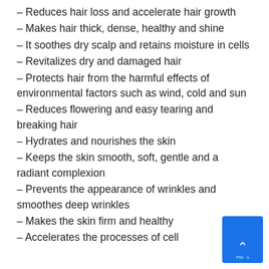– Reduces hair loss and accelerate hair growth
– Makes hair thick, dense, healthy and shine
– It soothes dry scalp and retains moisture in cells
– Revitalizes dry and damaged hair
– Protects hair from the harmful effects of environmental factors such as wind, cold and sun
– Reduces flowering and easy tearing and breaking hair
– Hydrates and nourishes the skin
– Keeps the skin smooth, soft, gentle and a radiant complexion
– Prevents the appearance of wrinkles and smoothes deep wrinkles
– Makes the skin firm and healthy
– Accelerates the processes of cell